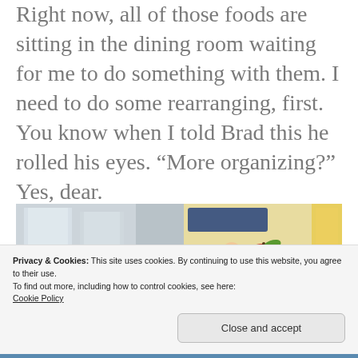Right now, all of those foods are sitting in the dining room waiting for me to do something with them. I need to do some rearranging, first. You know when I told Brad this he rolled his eyes. “More organizing?” Yes, dear.
[Figure (photo): Photo showing glass jars/containers on the left side and vintage food packaging/labels with an apple and a figure on the right side]
Privacy & Cookies: This site uses cookies. By continuing to use this website, you agree to their use.
To find out more, including how to control cookies, see here:
Cookie Policy
Close and accept
Go Gingham
NET ONE